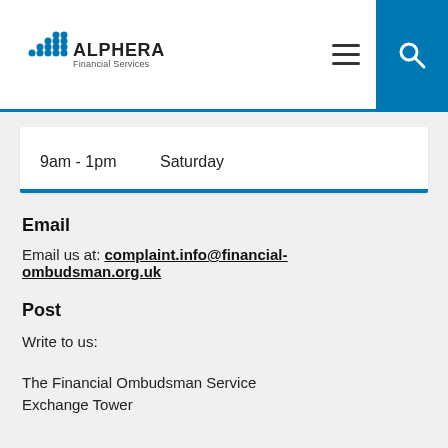ALPHERA Financial Services
| Time | Day |
| --- | --- |
| 9am - 1pm | Saturday |
Email
Email us at: complaint.info@financial-ombudsman.org.uk
Post
Write to us:
The Financial Ombudsman Service
Exchange Tower